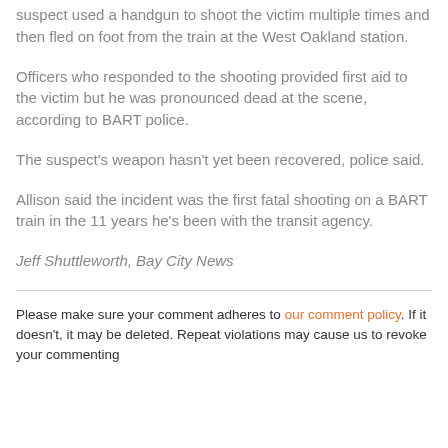suspect used a handgun to shoot the victim multiple times and then fled on foot from the train at the West Oakland station.
Officers who responded to the shooting provided first aid to the victim but he was pronounced dead at the scene, according to BART police.
The suspect's weapon hasn't yet been recovered, police said.
Allison said the incident was the first fatal shooting on a BART train in the 11 years he's been with the transit agency.
Jeff Shuttleworth, Bay City News
Please make sure your comment adheres to our comment policy. If it doesn't, it may be deleted. Repeat violations may cause us to revoke your commenting